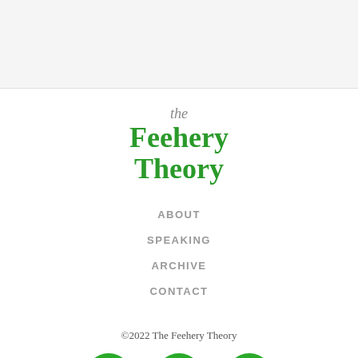[Figure (other): Light gray top banner area]
the Feehery Theory
ABOUT
SPEAKING
ARCHIVE
CONTACT
©2022 The Feehery Theory
[Figure (illustration): Three green circular social media icons: Facebook (f), Twitter (bird), YouTube (play button)]